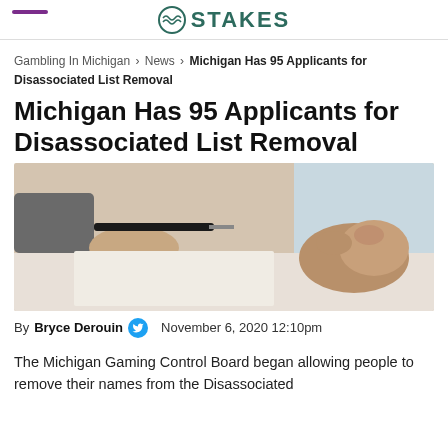STAKES
Gambling In Michigan > News > Michigan Has 95 Applicants for Disassociated List Removal
Michigan Has 95 Applicants for Disassociated List Removal
[Figure (photo): Two people at a table, one handing a pen and document to another whose hands are clasped]
By Bryce Derouin   November 6, 2020 12:10pm
The Michigan Gaming Control Board began allowing people to remove their names from the Disassociated